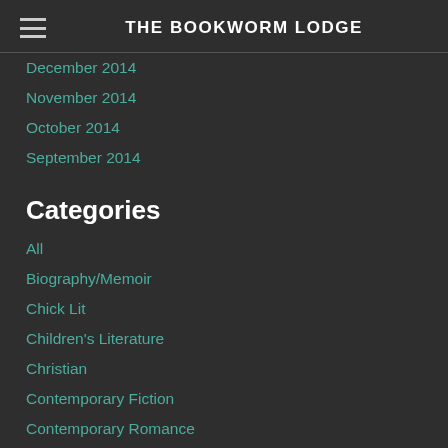THE BOOKWORM LODGE
December 2014
November 2014
October 2014
September 2014
Categories
All
Biography/Memoir
Chick Lit
Children's Literature
Christian
Contemporary Fiction
Contemporary Romance
Crime/ Adventure/ Law
Drama
Erotic
Family